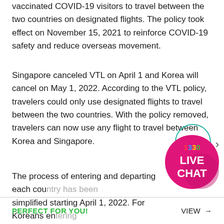vaccinated COVID-19 visitors to travel between the two countries on designated flights. The policy took effect on November 15, 2021 to reinforce COVID-19 safety and reduce overseas movement.
Singapore canceled VTL on April 1 and Korea will cancel on May 1, 2022. According to the VTL policy, travelers could only use designated flights to travel between the two countries. With the policy removed, travelers can now use any flight to travel between Korea and Singapore.
The process of entering and departing each country has been simplified starting April 1, 2022. For Koreans entering Singapore, COVID-19 vaccinated travelers do not need to prepare a separate application of entrance. For
[Figure (other): Live chat button badge: pink circular button with '1330' in multicolor text and 'LIVE CHAT' in white bold text on magenta/pink background]
PERFECT FOR YOU!    VIEW →